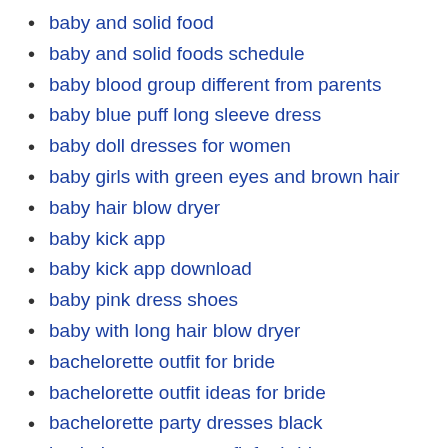baby and solid food
baby and solid foods schedule
baby blood group different from parents
baby blue puff long sleeve dress
baby doll dresses for women
baby girls with green eyes and brown hair
baby hair blow dryer
baby kick app
baby kick app download
baby pink dress shoes
baby with long hair blow dryer
bachelorette outfit for bride
bachelorette outfit ideas for bride
bachelorette party dresses black
bachelorette party outfit for bride